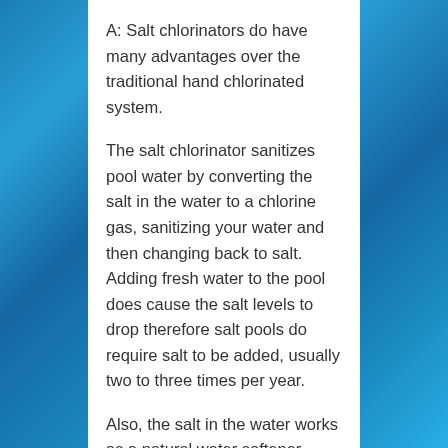A: Salt chlorinators do have many advantages over the traditional hand chlorinated system.
The salt chlorinator sanitizes pool water by converting the salt in the water to a chlorine gas, sanitizing your water and then changing back to salt. Adding fresh water to the pool does cause the salt levels to drop therefore salt pools do require salt to be added, usually two to three times per year.
Also, the salt in the water works as a natural water softener, creating a much more comfortable environment to swim in comparison